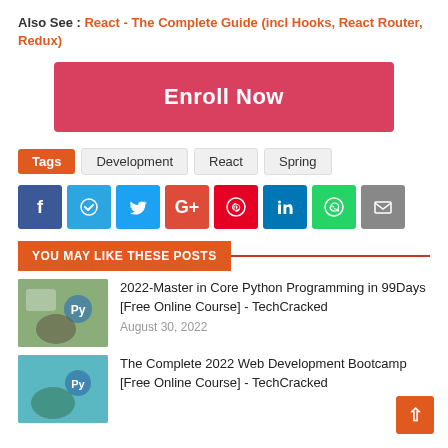Also See : React - The Complete Guide (incl Hooks, React Router, Redux)
[Figure (other): Enroll Now button — large red/pink rounded rectangle with white bold text]
Tags  Development  React  Spring
[Figure (other): Social share buttons row: Facebook, Telegram, Twitter, Google+, Pinterest, LinkedIn, WhatsApp, Email]
YOU MAY LIKE THESE POSTS
[Figure (photo): Thumbnail image of a person with Python logo for 2022 Master in Core Python Programming course]
2022-Master in Core Python Programming in 99Days [Free Online Course] - TechCracked
August 30, 2022
[Figure (photo): Thumbnail image for The Complete 2022 Web Development Bootcamp course]
The Complete 2022 Web Development Bootcamp [Free Online Course] - TechCracked